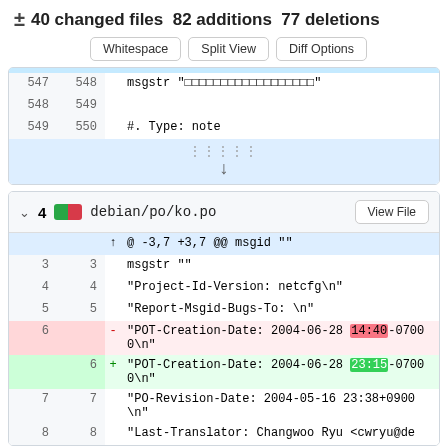± 40 changed files 82 additions 77 deletions
Whitespace | Split View | Diff Options
547 548 msgstr "□□□□□□□□□□□□□□□□□□"
548 549
549 550 #. Type: note
↓ 4 debian/po/ko.po View File
@ -3,7 +3,7 @@ msgid ""
3 3 msgstr ""
4 4 "Project-Id-Version: netcfg\n"
5 5 "Report-Msgid-Bugs-To: \n"
6 - "POT-Creation-Date: 2004-06-28 14:40-0700\n"
6 + "POT-Creation-Date: 2004-06-28 23:15-0700\n"
7 7 "PO-Revision-Date: 2004-05-16 23:38+0900\n"
8 8 "Last-Translator: Changwoo Ryu <cwryu@de